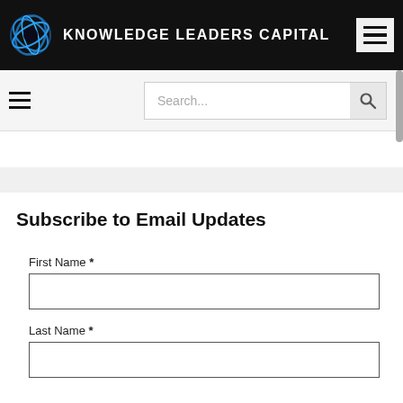KNOWLEDGE LEADERS CAPITAL
[Figure (screenshot): Search bar with hamburger menu icon on the left and a search input box with magnifying glass icon on the right]
Subscribe to Email Updates
First Name *
Last Name *